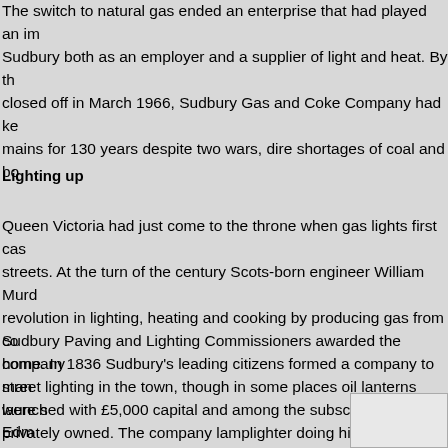The switch to natural gas ended an enterprise that had played an important role in Sudbury both as an employer and a supplier of light and heat. By the time the last mains were closed off in March 1966, Sudbury Gas and Coke Company had kept the gas flowing through its mains for 130 years despite two wars, dire shortages of coal and bo...
Lighting up
Queen Victoria had just come to the throne when gas lights first cast their glow over the streets. At the turn of the century Scots-born engineer William Murdo... revolution in lighting, heating and cooking by producing gas from co... home. In 1836 Sudbury's leading citizens formed a company to mar... launched with £5,000 capital and among the subscribers were Edm... Vue, John Sikes the wine importer of East House, solicitor George A... Gainsborough Dupont and master weaver John Burkitt.
Sudbury Paving and Lighting Commissioners awarded the company... street lighting in the town, though in some places oil lanterns were s... privately owned. The company lamplighter doing his regular round w... soon a familiar sight in the town though the contract gave the compa... the lamps at the time of a full moon.
[Figure (photo): Partial view of a historical photograph, partially cropped at the bottom right of the page.]